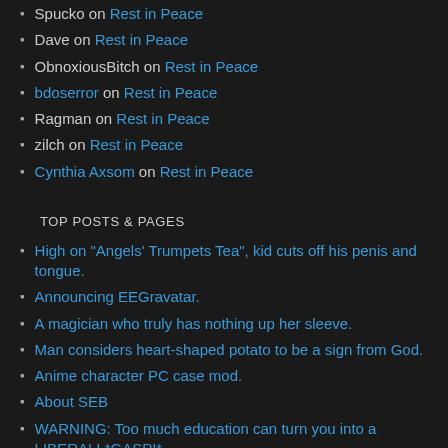Spucko on Rest in Peace
Dave on Rest in Peace
ObnoxiousBitch on Rest in Peace
bdoserror on Rest in Peace
Ragman on Rest in Peace
zilch on Rest in Peace
Cynthia Axsom on Rest in Peace
TOP POSTS & PAGES
High on "Angels' Trumpets Tea", kid cuts off his penis and tongue.
Announcing EEGravatar.
A magician who truly has nothing up her sleeve.
Man considers heart-shaped potato to be a sign from God.
Anime character PC case mod.
About SEB
WARNING: Too much education can turn you into a LIBERAL! *GASP!*
Phony “Democratic” Mailer in California
Happy or healthy.